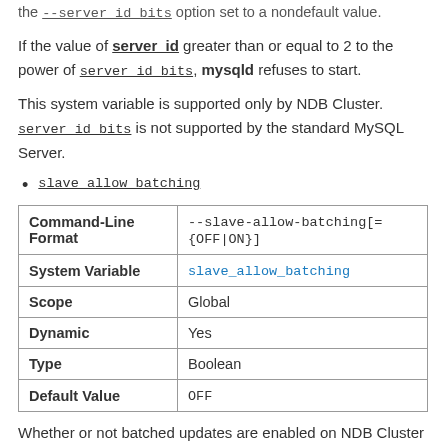the --server_id_bits option set to a nondefault value.
If the value of server_id greater than or equal to 2 to the power of server_id_bits, mysqld refuses to start.
This system variable is supported only by NDB Cluster. server_id_bits is not supported by the standard MySQL Server.
slave_allow_batching
| Command-Line Format | --slave-allow-batching[={OFF|ON}] |
| --- | --- |
| System Variable | slave_allow_batching |
| Scope | Global |
| Dynamic | Yes |
| Type | Boolean |
| Default Value | OFF |
Whether or not batched updates are enabled on NDB Cluster replicas.